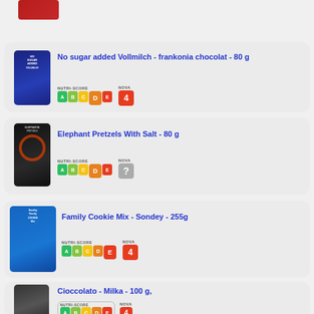[Figure (photo): Partial product image at top, cropped]
[Figure (photo): No sugar added Vollmilch - frankonia chocolat 80g product image]
No sugar added Vollmilch - frankonia chocolat - 80 g
[Figure (infographic): Nutri-Score D badge and NOVA 4 badge]
[Figure (photo): Elephant Pretzels With Salt 80g product image]
Elephant Pretzels With Salt - 80 g
[Figure (infographic): Nutri-Score D badge and NOVA unknown badge]
[Figure (photo): Family Cookie Mix - Sondey - 255g product image]
Family Cookie Mix - Sondey - 255g
[Figure (infographic): Nutri-Score E badge and NOVA 4 badge]
[Figure (photo): Cioccolato - Milka - 100g product image]
Cioccolato - Milka - 100 g,
[Figure (infographic): Nutri-Score D/E and NOVA 4 badge (partially visible)]